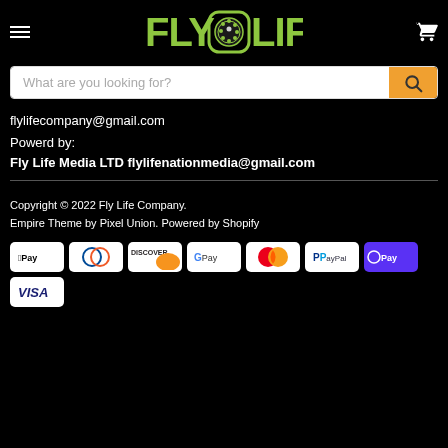FLY LIFE - navigation header with hamburger menu, logo, and cart icon
[Figure (screenshot): Search bar with placeholder text 'What are you looking for?' and orange search button]
flylifecompany@gmail.com
Powerd by:
Fly Life Media LTD flylifenationmedia@gmail.com
Copyright © 2022 Fly Life Company.
Empire Theme by Pixel Union. Powered by Shopify
[Figure (logo): Payment icons: Apple Pay, Diners, Discover, Google Pay, Mastercard, PayPal, Shop Pay, Visa]